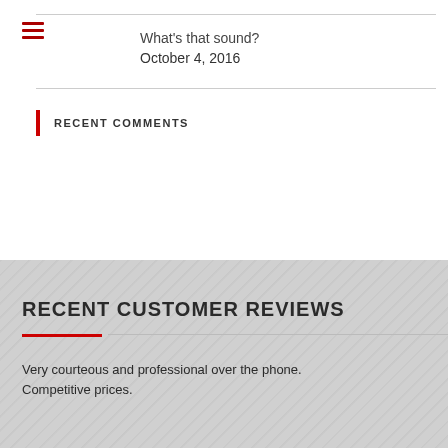What's that sound?
October 4, 2016
RECENT COMMENTS
RECENT CUSTOMER REVIEWS
Very courteous and professional over the phone. Competitive prices.